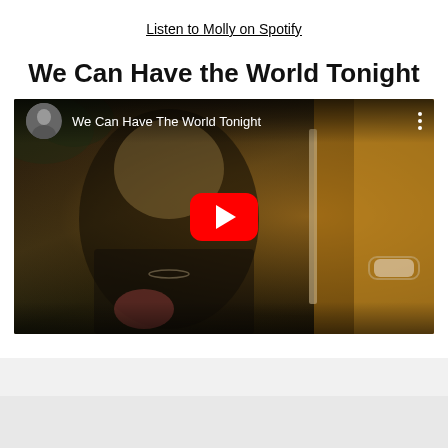Listen to Molly on Spotify
We Can Have the World Tonight
[Figure (screenshot): YouTube video embed showing a woman in a leather jacket viewed through a car window, with YouTube play button overlay and title 'We Can Have The World Tonight' with artist avatar in top left corner.]